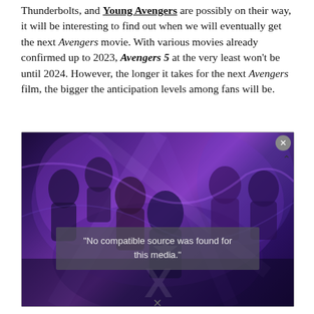Thunderbolts, and Young Avengers are possibly on their way, it will be interesting to find out when we will eventually get the next Avengers movie. With various movies already confirmed up to 2023, Avengers 5 at the very least won't be until 2024. However, the longer it takes for the next Avengers film, the bigger the anticipation levels among fans will be.
[Figure (photo): Avengers movie promotional image showing multiple Marvel superheroes including Captain America, Black Widow, Captain Marvel, and others against a purple cosmic background. A media player overlay displays the message 'No compatible source was found for this media.']